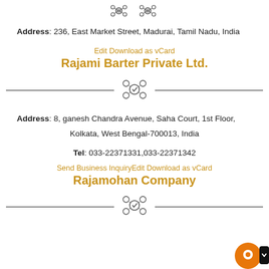[Figure (logo): Two small network/hub icons at the top of the page]
Address: 236, East Market Street, Madurai, Tamil Nadu, India
Edit Download as vCard
Rajami Barter Private Ltd.
[Figure (other): Divider with a network/hub icon in the center]
Address: 8, ganesh Chandra Avenue, Saha Court, 1st Floor, Kolkata, West Bengal-700013, India
Tel: 033-22371331,033-22371342
Send Business InquiryEdit Download as vCard
Rajamohan Company
[Figure (other): Divider with a network/hub icon in the center at the bottom]
[Figure (other): Orange chat bubble icon and black chevron button at bottom right]